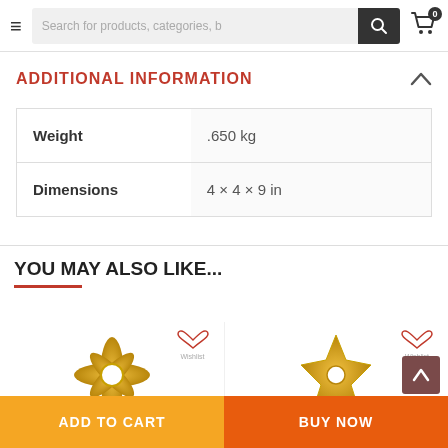Search for products, categories, b
ADDITIONAL INFORMATION
|  |  |
| --- | --- |
| Weight | .650 kg |
| Dimensions | 4 × 4 × 9 in |
YOU MAY ALSO LIKE...
[Figure (photo): Two decorative brass finial product thumbnails shown side by side]
ADD TO CART
BUY NOW